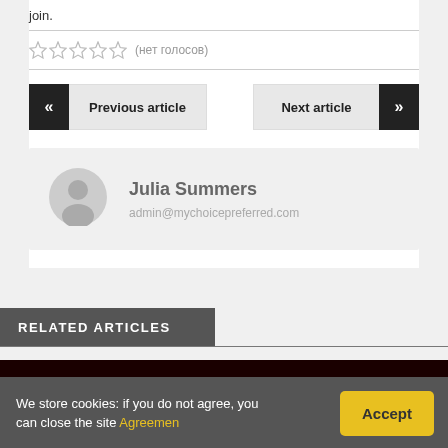join.
★★★★★ (нет голосов)
Previous article
Next article
[Figure (illustration): Author avatar placeholder icon (grey circle with person silhouette)]
Julia Summers
admin@mychoicepreferred.com
RELATED ARTICLES
[Figure (photo): Dark brown/black background image strip]
We store cookies: if you do not agree, you can close the site Agreemen